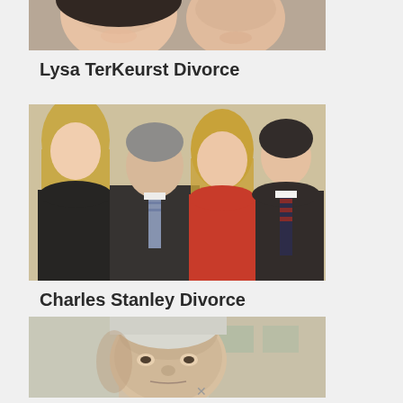[Figure (photo): Cropped photo showing two smiling faces, top portion cut off, partial view of two people]
Lysa TerKeurst Divorce
[Figure (photo): Group photo of four people: young blonde woman on left, older man in dark suit with tie, woman in red dress, young man in dark suit with striped tie]
Charles Stanley Divorce
[Figure (photo): Close-up portrait of an older man with white/grey hair, looking slightly to the side, building visible in background]